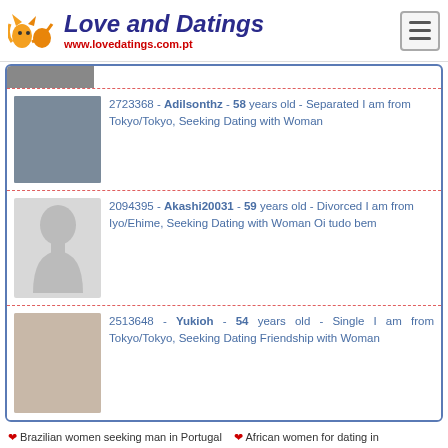Love and Datings — www.lovedatings.com.pt
2723368 - Adilsonthz - 58 years old - Separated I am from Tokyo/Tokyo, Seeking Dating with Woman
2094395 - Akashi20031 - 59 years old - Divorced I am from Iyo/Ehime, Seeking Dating with Woman Oi tudo bem
2513648 - Yukioh - 54 years old - Single I am from Tokyo/Tokyo, Seeking Dating Friendship with Woman
❤ Brazilian women seeking man in Portugal  ❤ African women for dating in Aruba  ❤ Seeking for woman in Poland  ❤ Adult dating site with women